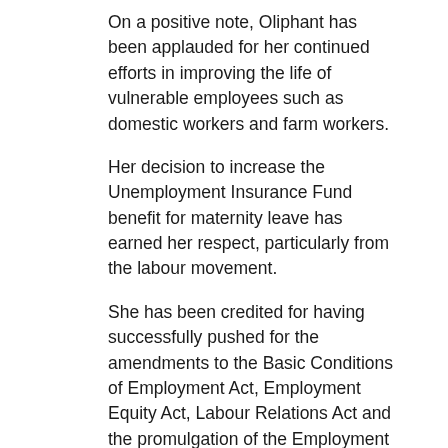On a positive note, Oliphant has been applauded for her continued efforts in improving the life of vulnerable employees such as domestic workers and farm workers.
Her decision to increase the Unemployment Insurance Fund benefit for maternity leave has earned her respect, particularly from the labour movement.
She has been credited for having successfully pushed for the amendments to the Basic Conditions of Employment Act, Employment Equity Act, Labour Relations Act and the promulgation of the Employment Services Bill.
The latter will make the labour department responsible for providing public employment services free of charge to jobless South Africans and matching job seekers with employment opportunities in the private sector.